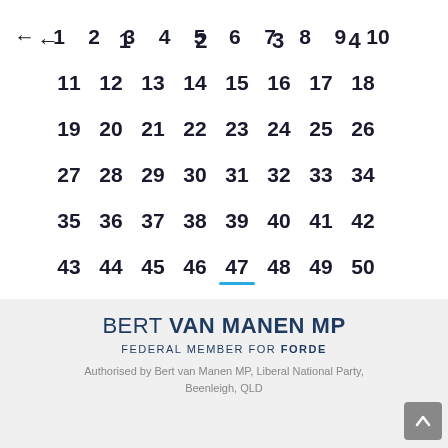[Figure (other): Hamburger menu icon (three horizontal lines) in a gray rounded rectangle, top right corner]
← 1 2 3 4 5 6 7 8 9 10
11 12 13 14 15 16 17 18
19 20 21 22 23 24 25 26
27 28 29 30 31 32 33 34
35 36 37 38 39 40 41 42
43 44 45 46 47 48 49 50
51 52 53 →
BERT VAN MANEN MP FEDERAL MEMBER FOR FORDE Authorised by Bert van Manen MP, Liberal National Party, Beenleigh, QLD